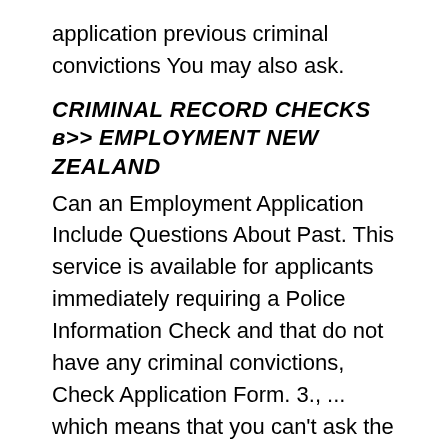application previous criminal convictions You may also ask.
CRIMINAL RECORD CHECKS в>> EMPLOYMENT NEW ZEALAND
Can an Employment Application Include Questions About Past. This service is available for applicants immediately requiring a Police Information Check and that do not have any criminal convictions, Check Application Form. 3., ... which means that you can't ask the applicant about convictions on a job application. can't ask about criminal you can ask about felony convictions.
Should the вЂ™Criminal Convictions Employers increasingly ask applicants to indicate whether